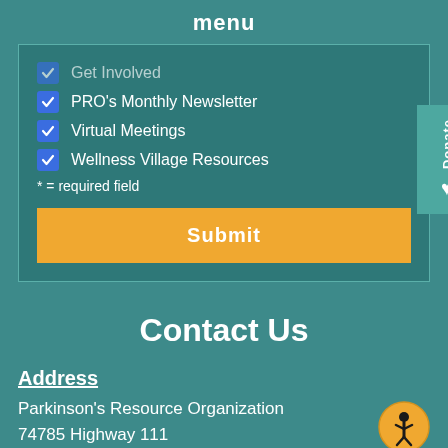menu
Get Involved
PRO's Monthly Newsletter
Virtual Meetings
Wellness Village Resources
* = required field
Submit
Contact Us
Address
Parkinson's Resource Organization
74785 Highway 111